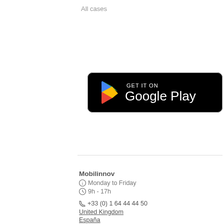All cases
[Figure (logo): Google Play Store badge — black rounded rectangle with Google Play triangle logo in blue, red, yellow, green and white text: GET IT ON Google Play]
Mobilinnov
Monday to Friday
9h - 17h
+33 (0) 1 64 44 44 50
United Kingdom
España
Italia
Payment Secure